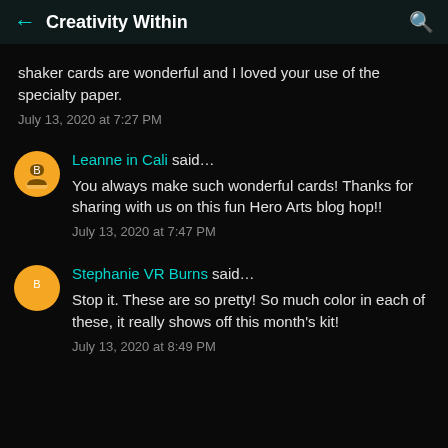← Creativity Within 🔍
shaker cards are wonderful and I loved your use of the specialty paper.
July 13, 2020 at 7:27 PM
Leanne in Cali said…
You always make such wonderful cards! Thanks for sharing with us on this fun Hero Arts blog hop!!
July 13, 2020 at 7:47 PM
Stephanie VR Burns said…
Stop it. These are so pretty! So much color in each of these, it really shows off this month's kit!
July 13, 2020 at 8:49 PM